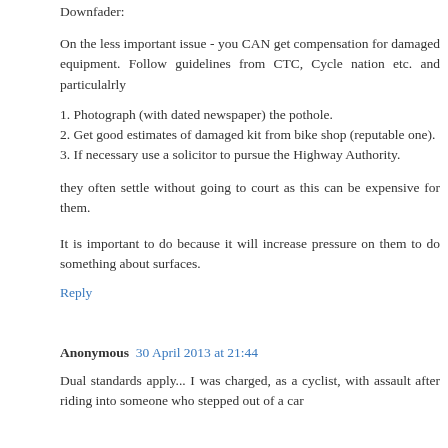Downfader:
On the less important issue - you CAN get compensation for damaged equipment. Follow guidelines from CTC, Cycle nation etc. and particulalrly
1. Photograph (with dated newspaper) the pothole.
2. Get good estimates of damaged kit from bike shop (reputable one).
3. If necessary use a solicitor to pursue the Highway Authority.
they often settle without going to court as this can be expensive for them.
It is important to do because it will increase pressure on them to do something about surfaces.
Reply
Anonymous  30 April 2013 at 21:44
Dual standards apply... I was charged, as a cyclist, with assault after riding into someone who stepped out of a car